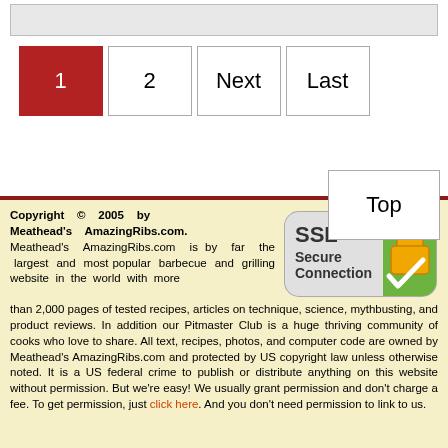[Figure (screenshot): Search bar / input area at top of page]
1  2  Next  Last  Top
Copyright © 2005 by Meathead's AmazingRibs.com. Meathead's AmazingRibs.com is by far the largest and most popular barbecue and grilling website in the world with more than 2,000 pages of tested recipes, articles on technique, science, mythbusting, and product reviews. In addition our Pitmaster Club is a huge thriving community of cooks who love to share. All text, recipes, photos, and computer code are owned by Meathead's AmazingRibs.com and protected by US copyright law unless otherwise noted. It is a US federal crime to publish or distribute anything on this website without permission. But we're easy! We usually grant permission and don't charge a fee. To get permission, just click here. And you don't need permission to link to us.
[Figure (illustration): SSL Secure Connection badge with padlock icon]